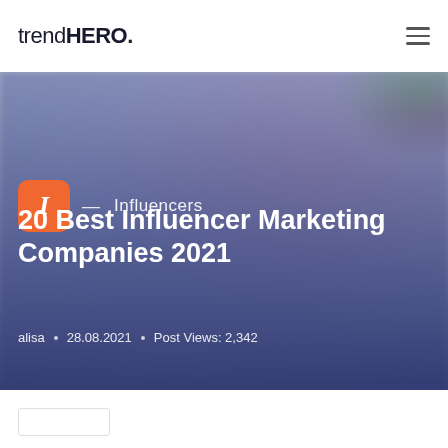trendHERO.
[Figure (photo): Hero banner image of people with sunglasses outdoors, blurred, with dark blue-purple gradient overlay. Category tag with orange 'I' icon and 'Influencers' label visible.]
20 Best Influencer Marketing Companies 2021
alisa · 28.08.2021 · Post Views: 2,342